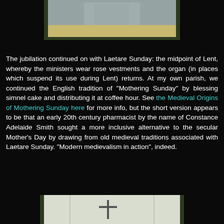[Figure (photo): Partial view of a person standing, cropped photo with dark olive/green border frame]
The jubilation continued on with Laetare Sunday: the midpoint of Lent, whereby the ministers wear rose vestments and the organ (in places which suspend its use during Lent) returns. At my own parish, we continued the English tradition of "Mothering Sunday" by blessing simnel cake and distributing it at coffee hour. See the Medieval Origins of Mothering Sunday here for more info, but the short version appears to be that an early 20th century pharmacist by the name of Constance Adelaide Smith sought a more inclusive alternative to the secular Mother's Day by drawing from old medieval traditions associated with Laetare Sunday. "Modern medievalism in action", indeed.
[Figure (photo): Bottom image showing what appears to be a cross or religious symbols on a light background, with dark olive border frame]